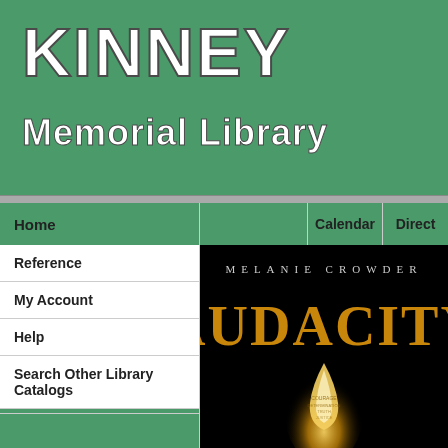KINNEY Memorial Library
Home
Calendar
Direct
Reference
My Account
Help
Search Other Library Catalogs
[Figure (illustration): Cartoon puppy dog sitting on an open book, used as Kid's Catalog link icon]
Kid's Catalog
[Figure (photo): Book cover of 'Audacity' by Melanie Crowder — black background with large golden text 'AUDACITY' and a glowing candle flame with text embedded in it]